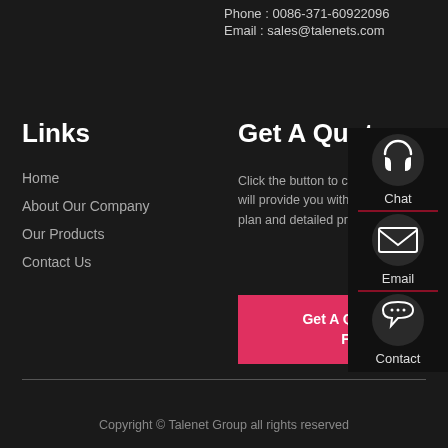Phone : 0086-371-60922096
Email : sales@talenets.com
Links
Home
About Our Company
Our Products
Contact Us
Get A Quote
Click the button to contact us, we will provide you with a free quote plan and detailed production plan.
Get A Quote For Free
[Figure (infographic): Sidebar popup with three icons: Chat (headset icon), Email (envelope icon), Contact (speech bubble icon), each separated by a red underline]
Copyright © Talenet Group all rights reserved